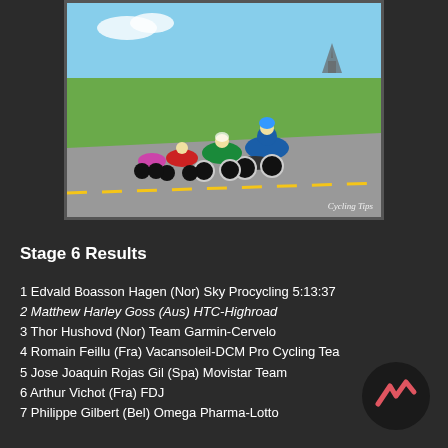[Figure (photo): Group of cyclists racing on a road with Mont Saint-Michel visible in the background, green fields on the side. Watermark reads 'Cycling Tips'.]
Stage 6 Results
1 Edvald Boasson Hagen (Nor) Sky Procycling 5:13:37
2 Matthew Harley Goss (Aus) HTC-Highroad
3 Thor Hushovd (Nor) Team Garmin-Cervelo
4 Romain Feillu (Fra) Vacansoleil-DCM Pro Cycling Tea
5 Jose Joaquin Rojas Gil (Spa) Movistar Team
6 Arthur Vichot (Fra) FDJ
7 Philippe Gilbert (Bel) Omega Pharma-Lotto